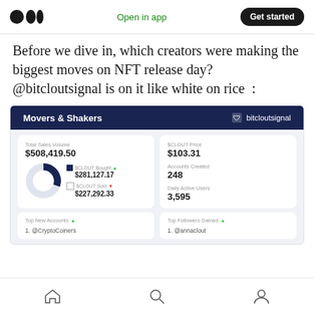Open in app  Get started
Before we dive in, which creators were making the biggest moves on NFT release day? @bitcloutsignal is on it like white on rice  :
[Figure (screenshot): Screenshot of bitcloutsignal dashboard showing 'Movers & Shakers' panel with Total Sales Volume $508,419.50, a donut chart showing $CLOUT Bought $281,127.17 and $CLOUT Sold $227,292.33, $CLOUT Price $103.31, Accounts Created 248, Daily Active Users 3,595, Top New Accounts section, and Top Followers Gained section.]
Home  Search  Profile